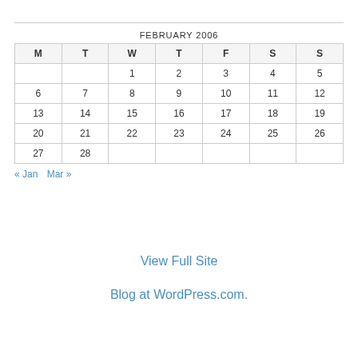| M | T | W | T | F | S | S |
| --- | --- | --- | --- | --- | --- | --- |
|  |  | 1 | 2 | 3 | 4 | 5 |
| 6 | 7 | 8 | 9 | 10 | 11 | 12 |
| 13 | 14 | 15 | 16 | 17 | 18 | 19 |
| 20 | 21 | 22 | 23 | 24 | 25 | 26 |
| 27 | 28 |  |  |  |  |  |
« Jan   Mar »
View Full Site
Blog at WordPress.com.